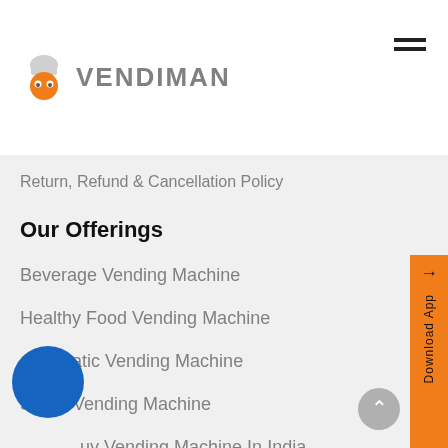[Figure (logo): Vendiman logo with orange mascot chef icon and grey VENDIMAN text]
Return, Refund & Cancellation Policy
Our Offerings
Beverage Vending Machine
Healthy Food Vending Machine
Automatic Vending Machine
Smart Vending Machine
Buy Vending Machine In India